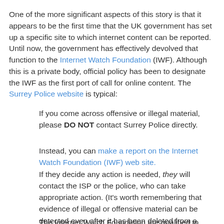One of the more significant aspects of this story is that it appears to be the first time that the UK government has set up a specific site to which internet content can be reported. Until now, the government has effectively devolved that function to the Internet Watch Foundation (IWF). Although this is a private body, official policy has been to designate the IWF as the first port of call for online content. The Surrey Police website is typical:
If you come across offensive or illegal material, please DO NOT contact Surrey Police directly.
Instead, you can make a report on the Internet Watch Foundation (IWF) web site. If they decide any action is needed, they will contact the ISP or the police, who can take appropriate action. (It's worth remembering that evidence of illegal or offensive material can be detected even after it has been deleted from a computer.)
The Internet Watch Foundation are qualified to